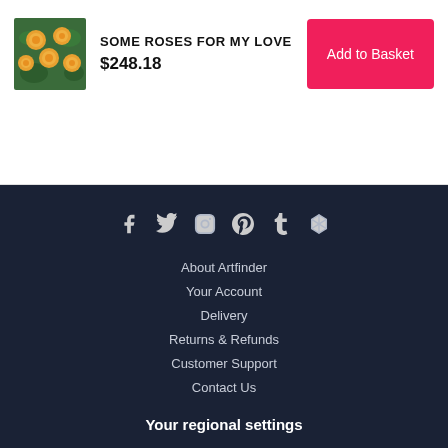[Figure (illustration): Small square painting of orange roses on green background]
SOME ROSES FOR MY LOVE
$248.18
Add to Basket
[Figure (other): Social media icons: Facebook, Twitter, Instagram, Pinterest, Tumblr, and another icon]
About Artfinder
Your Account
Delivery
Returns & Refunds
Customer Support
Contact Us
Your regional settings